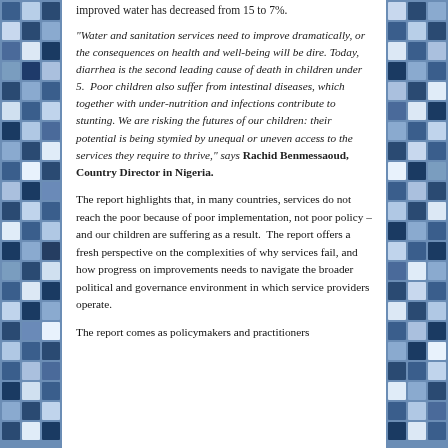improved water has decreased from 15 to 7%.
“Water and sanitation services need to improve dramatically, or the consequences on health and well-being will be dire. Today, diarrhea is the second leading cause of death in children under 5.  Poor children also suffer from intestinal diseases, which together with under-nutrition and infections contribute to stunting. We are risking the futures of our children: their potential is being stymied by unequal or uneven access to the services they require to thrive,” says Rachid Benmessaoud, Country Director in Nigeria.
The report highlights that, in many countries, services do not reach the poor because of poor implementation, not poor policy – and our children are suffering as a result.  The report offers a fresh perspective on the complexities of why services fail, and how progress on improvements needs to navigate the broader political and governance environment in which service providers operate.
The report comes as policymakers and practitioners